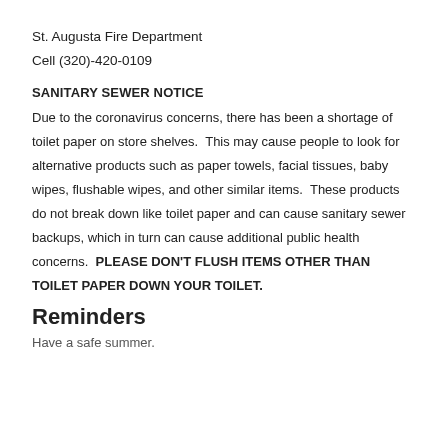St. Augusta Fire Department
Cell (320)-420-0109
SANITARY SEWER NOTICE
Due to the coronavirus concerns, there has been a shortage of toilet paper on store shelves.  This may cause people to look for alternative products such as paper towels, facial tissues, baby wipes, flushable wipes, and other similar items.  These products do not break down like toilet paper and can cause sanitary sewer backups, which in turn can cause additional public health concerns.  PLEASE DON'T FLUSH ITEMS OTHER THAN TOILET PAPER DOWN YOUR TOILET.
Reminders
Have a safe summer.